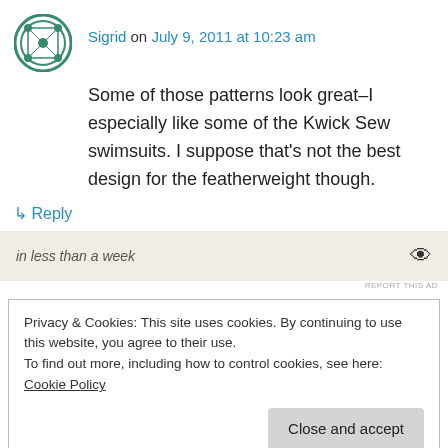[Figure (illustration): Green circular decorative avatar icon with geometric pattern]
Sigrid on July 9, 2011 at 10:23 am
Some of those patterns look great–I especially like some of the Kwick Sew swimsuits. I suppose that's not the best design for the featherweight though.
↳ Reply
in less than a week
REPORT THIS AD
Privacy & Cookies: This site uses cookies. By continuing to use this website, you agree to their use.
To find out more, including how to control cookies, see here: Cookie Policy
Close and accept
but I honestly thought you had that covered (I